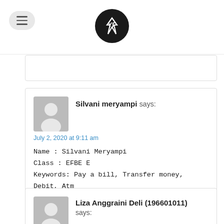Menu / Logo
[Figure (screenshot): Partial comment card at top]
Silvani meryampi says:
July 2, 2020 at 9:11 am
Name : Silvani Meryampi
Class : EFBE E
Keywords: Pay a bill, Transfer money, Debit, Atm
REPLY
Liza Anggraini Deli (196601011) says:
July 2, 2020 at 9:25 am
Name : Liza Anggraini Deli